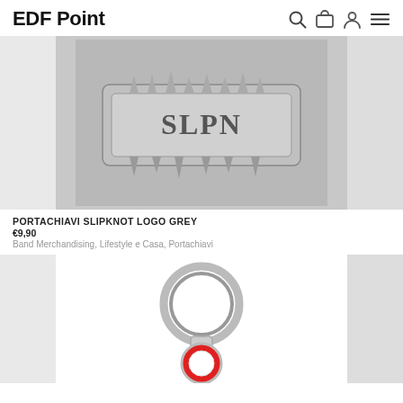EDF Point
[Figure (photo): Close-up of a Slipknot logo keychain in grey metal with stylized jagged lettering, shown against a light grey background]
PORTACHIAVI SLIPKNOT LOGO GREY
€9,90
Band Merchandising, Lifestyle e Casa, Portachiavi
[Figure (photo): Partial view of a keychain with a silver ring and a round red/white enamel charm, against a light grey background]